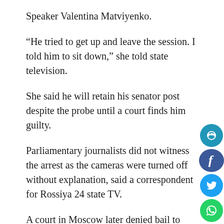Speaker Valentina Matviyenko.
“He tried to get up and leave the session. I told him to sit down,” she told state television.
She said he will retain his senator post despite the probe until a court finds him guilty.
Parliamentary journalists did not witness the arrest as the cameras were turned off without explanation, said a correspondent for Rossiya 24 state TV.
A court in Moscow later denied bail to Arashukov, deciding to keep him behind bars for two months while the probe continues.
Investigators named the murder victims as Aslan Zhukov, an activist with an organization representing the Circassian ethnic minority, and Fral Shebzukhov, an